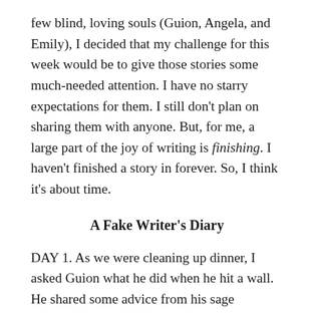few blind, loving souls (Guion, Angela, and Emily), I decided that my challenge for this week would be to give those stories some much-needed attention. I have no starry expectations for them. I still don't plan on sharing them with anyone. But, for me, a large part of the joy of writing is finishing. I haven't finished a story in forever. So, I think it's about time.
A Fake Writer's Diary
DAY 1. As we were cleaning up dinner, I asked Guion what he did when he hit a wall. He shared some advice from his sage professor, short story writer and affirmed genius, Deborah